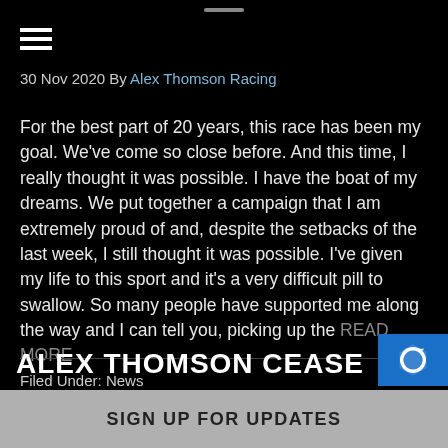30 Nov 2020 By Alex Thomson Racing
For the best part of 20 years, this race has been my goal. We've come so close before. And this time, I really thought it was possible. I have the boat of my dreams. We put together a campaign that I am extremely proud of and, despite the setbacks of the last week, I still thought it was possible. I've given my life to this sport and it's a very difficult pill to swallow. So many people have supported me along the way and I can tell you, picking up the READ MORE
Filed Under: News
ALEX THOMSON CEASE
SIGN UP FOR UPDATES